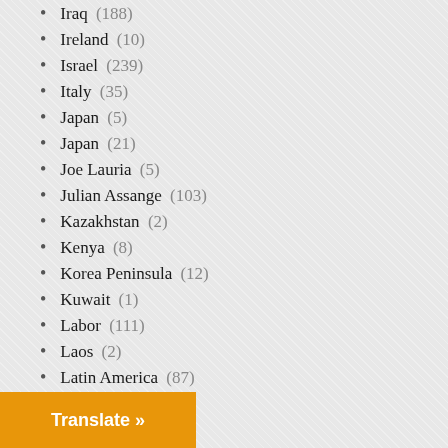Iraq (188)
Ireland (10)
Israel (239)
Italy (35)
Japan (5)
Japan (21)
Joe Lauria (5)
Julian Assange (103)
Kazakhstan (2)
Kenya (8)
Korea Peninsula (12)
Kuwait (1)
Labor (111)
Laos (2)
Latin America (87)
Lebanon (37)
Legal (534)
Letter from Britain (10)
...ndia (1)
...ondon (1)